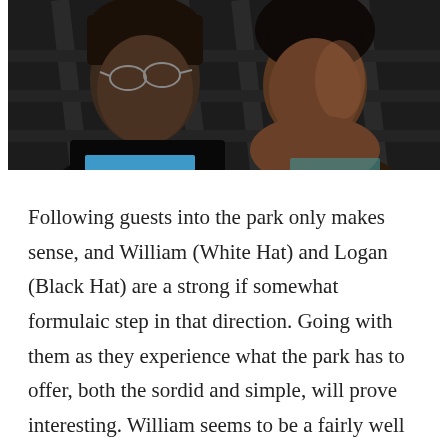[Figure (photo): Two people facing each other in a dark, dimly lit setting. On the left is a person wearing glasses and a dark shirt, on the right is a person with curly hair. A blue light is visible in the background.]
Following guests into the park only makes sense, and William (White Hat) and Logan (Black Hat) are a strong if somewhat formulaic step in that direction. Going with them as they experience what the park has to offer, both the sordid and simple, will prove interesting. William seems to be a fairly well adjusted average guy who will likely revel in the fantasy and the ability to play the hero, Logan appears to be the kind of  guy who will take